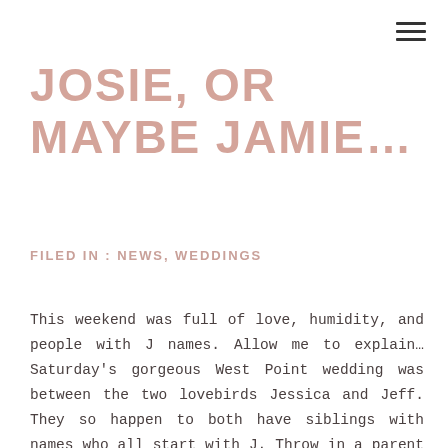JOSIE, OR MAYBE JAMIE…
FILED IN : NEWS, WEDDINGS
This weekend was full of love, humidity, and people with J names. Allow me to explain… Saturday's gorgeous West Point wedding was between the two lovebirds Jessica and Jeff. They so happen to both have siblings with names who all start with J. Throw in a parent and a couple of